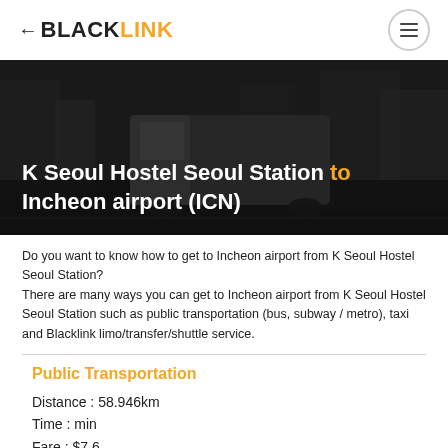BLACKLINK
[Figure (photo): Dark moody city street scene with a van and buildings in the background, black and white tones]
K Seoul Hostel Seoul Station to Incheon airport (ICN)
Do you want to know how to get to Incheon airport from K Seoul Hostel Seoul Station?
There are many ways you can get to Incheon airport from K Seoul Hostel Seoul Station such as public transportation (bus, subway / metro), taxi and Blacklink limo/transfer/shuttle service.
Public Transportation
Distance : 58.946km
Time : min
Fare : $7.6